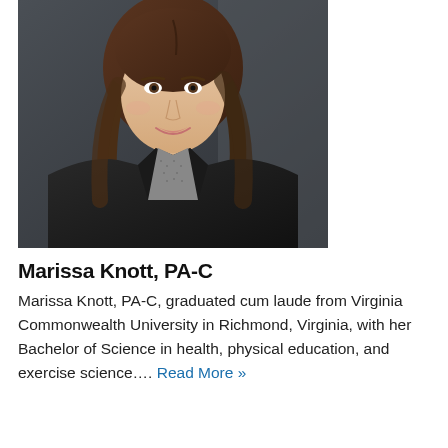[Figure (photo): Professional headshot of Marissa Knott, PA-C. A woman with long brown hair, smiling, wearing a black blazer over a grey patterned top, against a dark grey background.]
Marissa Knott, PA-C
Marissa Knott, PA-C, graduated cum laude from Virginia Commonwealth University in Richmond, Virginia, with her Bachelor of Science in health, physical education, and exercise science…. Read More »